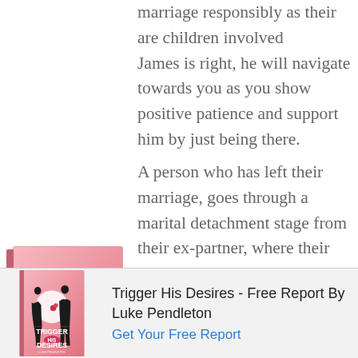marriage responsibly as there are children involved James is right, he will navigate towards you as you show positive patience and support him by just being there.
A person who has left their marriage, goes through a marital detachment stage from their ex-partner, where their separating themselves slowly from memories that they had with that partner & of habits they had with them, incl
[Figure (photo): Book cover for 'Trigger His Desires' by Luke Pendleton showing silhouettes of a man and woman on a pink background]
Trigger His Desires - Free Report By Luke Pendleton Get Your Free Report